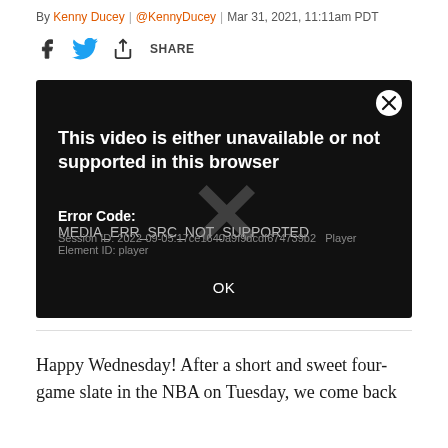By Kenny Ducey | @KennyDucey | Mar 31, 2021, 11:11am PDT
[Figure (screenshot): Video player error dialog on dark background showing: 'This video is either unavailable or not supported in this browser'. Error Code: MEDIA_ERR_SRC_NOT_SUPPORTED. Session ID: 2022-09-05:17ce1640a9f9dcdf674739b2 Player Element ID: player. OK button at bottom. Close (X) button top right.]
Happy Wednesday! After a short and sweet four-game slate in the NBA on Tuesday, we come back